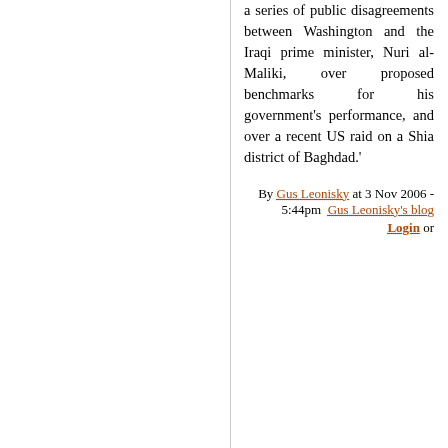a series of public disagreements between Washington and the Iraqi prime minister, Nuri al-Maliki, over proposed benchmarks for his government's performance, and over a recent US raid on a Shia district of Baghdad.'
By Gus Leonisky at 3 Nov 2006 - 5:44pm  Gus Leonisky's blog  Login or